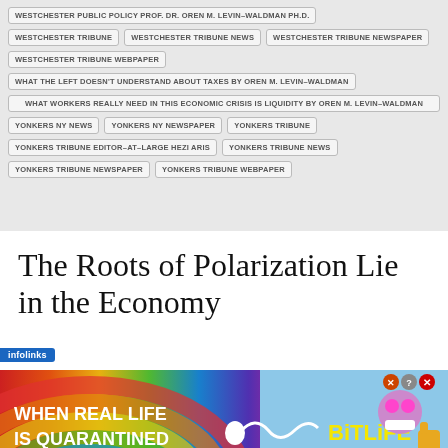WESTCHESTER PUBLIC POLICY PROF. DR. OREN M. LEVIN-WALDMAN PH.D.
WESTCHESTER TRIBUNE
WESTCHESTER TRIBUNE NEWS
WESTCHESTER TRIBUNE NEWSPAPER
WESTCHESTER TRIBUNE WEBPAPER
WHAT THE LEFT DOESN'T UNDERSTAND ABOUT TAXES BY OREN M. LEVIN-WALDMAN
WHAT WORKERS REALLY NEED IN THIS ECONOMIC CRISIS IS LIQUIDITY BY OREN M. LEVIN-WALDMAN
YONKERS NY NEWS
YONKERS NY NEWSPAPER
YONKERS TRIBUNE
YONKERS TRIBUNE EDITOR-AT-LARGE HEZI ARIS
YONKERS TRIBUNE NEWS
YONKERS TRIBUNE NEWSPAPER
YONKERS TRIBUNE WEBPAPER
The Roots of Polarization Lie in the Economy
[Figure (screenshot): BitLife advertisement banner: rainbow background with text 'WHEN REAL LIFE IS QUARANTINED' and BitLife logo, with emoji graphics and close buttons]